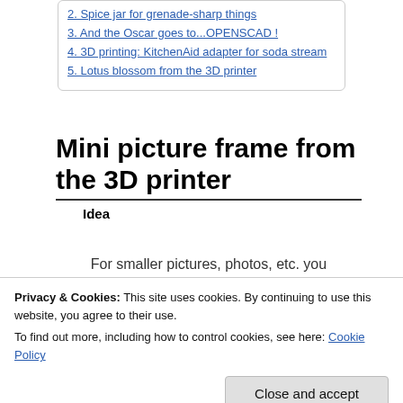2. Spice jar for grenade-sharp things
3. And the Oscar goes to...OPENSCAD !
4. 3D printing: KitchenAid adapter for soda stream
5. Lotus blossom from the 3D printer
Mini picture frame from the 3D printer
Idea
For smaller pictures, photos, etc. you
Privacy & Cookies: This site uses cookies. By continuing to use this website, you agree to their use.
To find out more, including how to control cookies, see here: Cookie Policy
print is on your 3D printer.